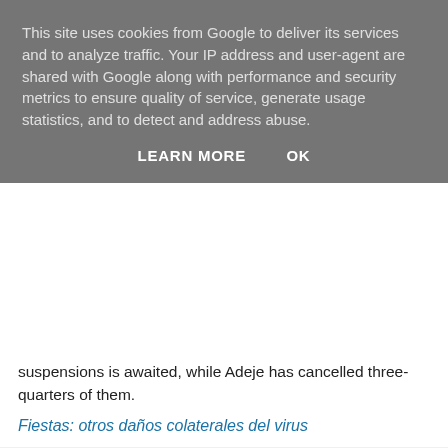This site uses cookies from Google to deliver its services and to analyze traffic. Your IP address and user-agent are shared with Google along with performance and security metrics to ensure quality of service, generate usage statistics, and to detect and address abuse.
LEARN MORE    OK
suspensions is awaited, while Adeje has cancelled three-quarters of them.
Fiestas: otros daños colaterales del virus
on Monday, April 27, 2020
Share
Friday, April 24, 2020
Celebrate the Romería en los balcones (Pilgrimage on the balconies) this Sunday...